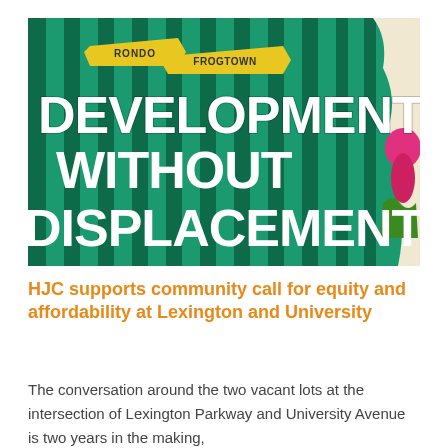[Figure (photo): A colorful banner or poster with green and dark green stripes in the background. Text on the banner reads 'DEVELOPMENT WITHOUT DISPLACEMENT' in large white letters. Two yellow ribbon-style banners at the top read 'RONDO' and 'FROGTOWN'. A colorful illustrated figure is partially visible on the right side.]
HJC supports community call for equity and affordability at Lexington and University
The conversation around the two vacant lots at the intersection of Lexington Parkway and University Avenue is two years in the making,